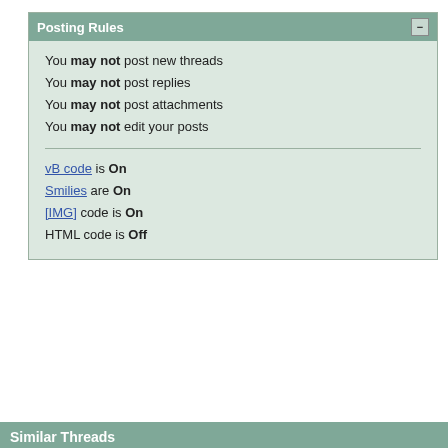Posting Rules
You may not post new threads
You may not post replies
You may not post attachments
You may not edit your posts
vB code is On
Smilies are On
[IMG] code is On
HTML code is Off
Forum Jump
Similar Threads
| Thread | Thread Starter | Forum | Replies | La |
| --- | --- | --- | --- | --- |
| There is justice after all ... | HĀogar | Misc | 0 | 1 |
| How ignorant ARE journalists (and every Joe Average) about science? (New planet) | RichA[_6_] | Amateur Astronomy | 3 | 0 |